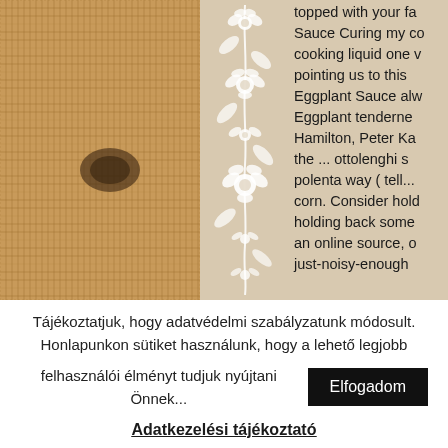[Figure (photo): Close-up photo of burlap/woven fabric texture in brown tones with a dark spot, left column of the top section]
[Figure (illustration): White floral vine/folk art decorative border on beige background, center column of the top section]
topped with your fa Sauce Curing my co cooking liquid one v pointing us to this Eggplant Sauce alw Eggplant tenderne Hamilton, Peter Ka the ... ottolenghi s polenta way ( tell... corn. Consider hold holding back some an online source, o just-noisy-enough
Tájékoztatjuk, hogy adatvédelmi szabályzatunk módosult. Honlapunkon sütiket használunk, hogy a lehető legjobb felhasználói élményt tudjuk nyújtani Önnek...
Elfogadom
Adatkezelési tájékoztató